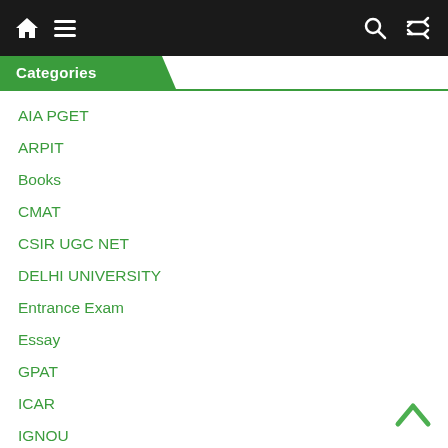Navigation bar with home, menu, search, and shuffle icons
Categories
AIA PGET
ARPIT
Books
CMAT
CSIR UGC NET
DELHI UNIVERSITY
Entrance Exam
Essay
GPAT
ICAR
IGNOU
IIFT